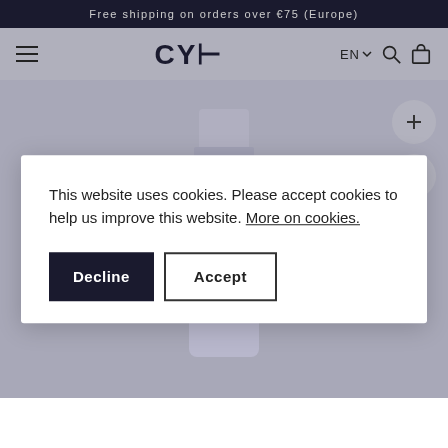Free shipping on orders over €75 (Europe)
[Figure (screenshot): Website navigation bar with hamburger menu on left, CYH logo in center, EN language selector and search/cart icons on right, on a muted blue-grey background]
[Figure (photo): Product bottle (lavender/purple-grey) displayed on muted blue-grey background with zoom (+) and share buttons on the right side]
This website uses cookies. Please accept cookies to help us improve this website. More on cookies.
Decline  Accept